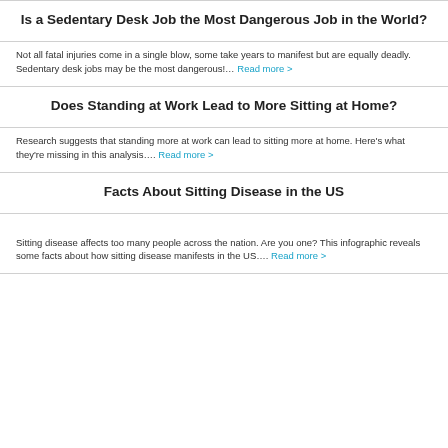Is a Sedentary Desk Job the Most Dangerous Job in the World?
Not all fatal injuries come in a single blow, some take years to manifest but are equally deadly. Sedentary desk jobs may be the most dangerous!… Read more >
Does Standing at Work Lead to More Sitting at Home?
Research suggests that standing more at work can lead to sitting more at home. Here's what they're missing in this analysis…. Read more >
Facts About Sitting Disease in the US
Sitting disease affects too many people across the nation. Are you one? This infographic reveals some facts about how sitting disease manifests in the US…. Read more >